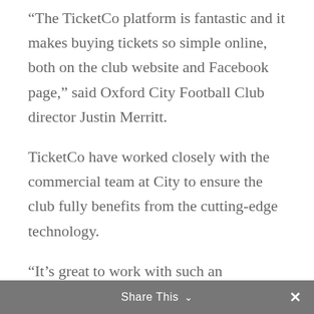“The TicketCo platform is fantastic and it makes buying tickets so simple online, both on the club website and Facebook page,” said Oxford City Football Club director Justin Merritt.
TicketCo have worked closely with the commercial team at City to ensure the club fully benefits from the cutting-edge technology.
“It’s great to work with such an ambitious, forward-thinking and community spirited football club,” said David Kenny, TicketCo Country Manager (UK). “We share similar values at TicketCo and we’re delighted to have partnered with Oxford City to
Share This